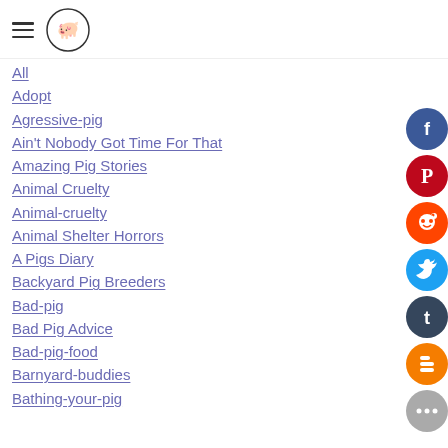[hamburger menu icon] [pig logo]
All
Adopt
Agressive-pig
Ain't Nobody Got Time For That
Amazing Pig Stories
Animal Cruelty
Animal-cruelty
Animal Shelter Horrors
A Pigs Diary
Backyard Pig Breeders
Bad-pig
Bad Pig Advice
Bad-pig-food
Barnyard-buddies
Bathing-your-pig
[Figure (infographic): Social sharing buttons on right side: Facebook (dark blue), Pinterest (dark red), Reddit (orange-red), Twitter (blue), Tumblr (dark blue-gray), Blogger (orange), More/ellipsis (gray)]